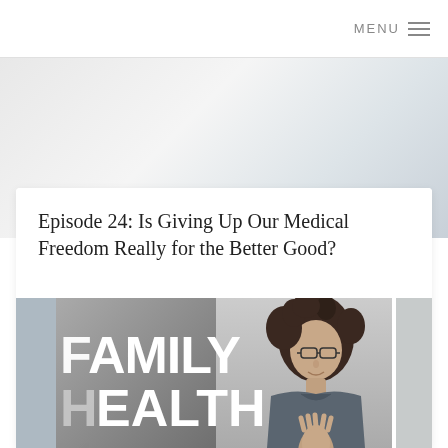MENU
Episode 24: Is Giving Up Our Medical Freedom Really for the Better Good?
[Figure (photo): Family Health Revolution Podcast cover art with a woman with curly hair and glasses pressing her palms together, overlaid on a gray split background. Text reads FAMILY HEALTH REVOLUTION PODCAST in large bold white letters.]